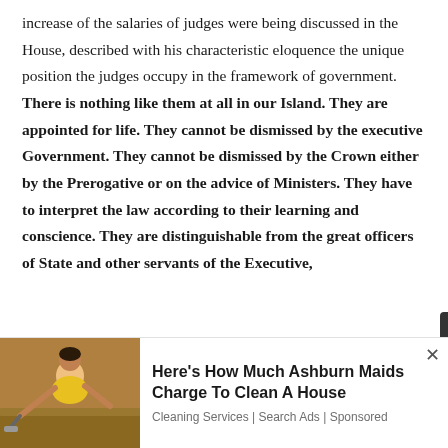increase of the salaries of judges were being discussed in the House, described with his characteristic eloquence the unique position the judges occupy in the framework of government. There is nothing like them at all in our Island. They are appointed for life. They cannot be dismissed by the executive Government. They cannot be dismissed by the Crown either by the Prerogative or on the advice of Ministers. They have to interpret the law according to their learning and conscience. They are distinguishable from the great officers of State and other servants of the Executive,
[Figure (photo): Advertisement showing a woman in a yellow uniform cleaning a floor, with text 'Here's How Much Ashburn Maids Charge To Clean A House' and sub-text 'Cleaning Services | Search Ads | Sponsored']